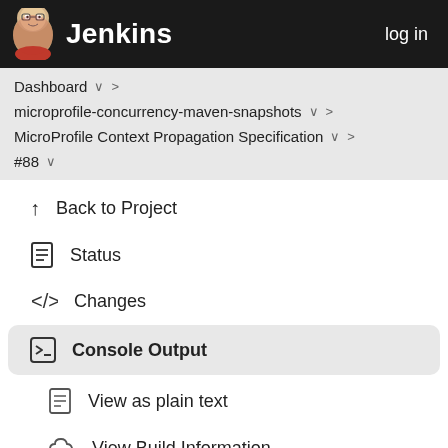Jenkins  log in
Dashboard ∨ >
microprofile-concurrency-maven-snapshots ∨ >
MicroProfile Context Propagation Specification ∨ >
#88 ∨
Back to Project
Status
Changes
Console Output
View as plain text
View Build Information